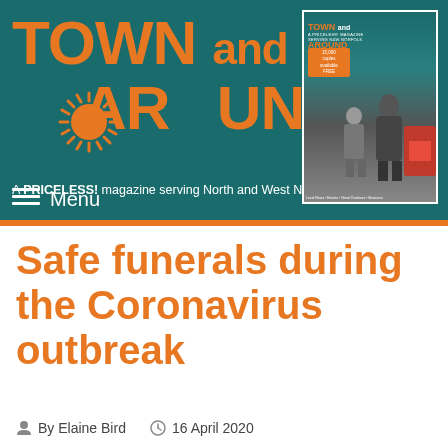[Figure (logo): Town and Around magazine logo with orange sun graphic on teal background, with tagline 'A PRICELESS! magazine serving North and West Norfolk' and a magazine cover thumbnail on the right]
Menu
Safe funerals during the Coronavirus outbreak
By Elaine Bird   16 April 2020